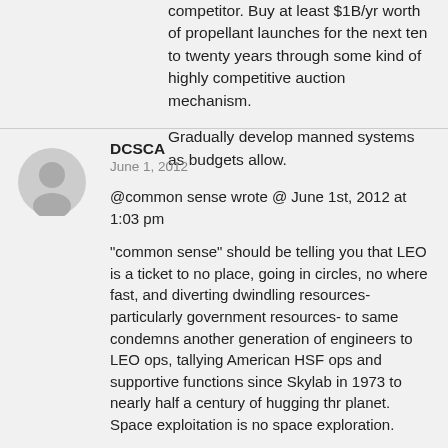competitor. Buy at least $1B/yr worth of propellant launches for the next ten to twenty years through some kind of highly competitive auction mechanism.
Gradually develop manned systems as budgets allow.
DCSCA
June 1, 2012
@common sense wrote @ June 1st, 2012 at 1:03 pm
"common sense" should be telling you that LEO is a ticket to no place, going in circles, no where fast, and diverting dwindling resources- particularly government resources- to same condemns another generation of engineers to LEO ops, tallying American HSF ops and supportive functions since Skylab in 1973 to nearly half a century of hugging thr planet. Space exploitation is no space exploration.
@Dark Blue Nine wrote @ June 1st, 2012 at 10:06 am
"With this grand slam from SpaceX…"
WTF? such are the pronouncemnts of the purveyors of the Magnified Importance of Diminished Vision. Space X delivered 1,000 pounds on a 'test flight' to LEO. Late.